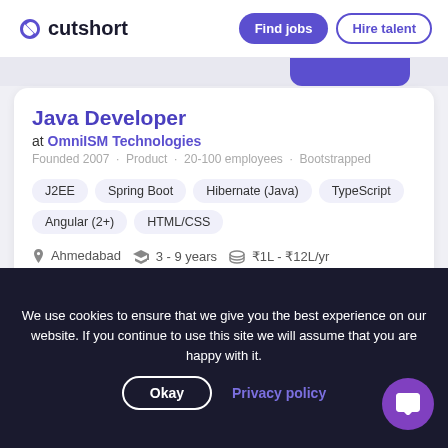cutshort | Find jobs | Hire talent
Java Developer
at OmniISM Technologies
Founded 2007 · Product · 20-100 employees · Bootstrapped
J2EE | Spring Boot | Hibernate (Java) | TypeScript | Angular (2+) | HTML/CSS
Ahmedabad | 3 - 9 years | ₹1L - ₹12L/yr
3-12 years Senior level candidate should run department Independently.
We use cookies to ensure that we give you the best experience on our website. If you continue to use this site we will assume that you are happy with it.
Okay | Privacy policy